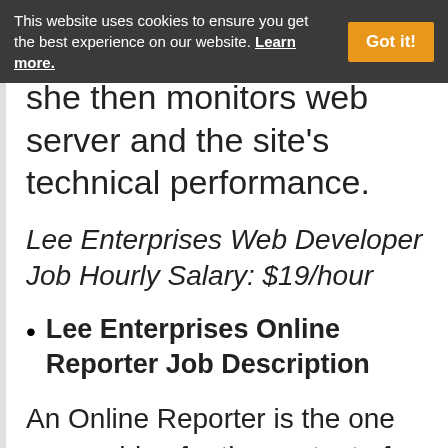This website uses cookies to ensure you get the best experience on our website. Learn more.
she then monitors web server and the site's technical performance.
Lee Enterprises Web Developer Job Hourly Salary: $19/hour
Lee Enterprises Online Reporter Job Description
An Online Reporter is the one researching for the content of the company's web site. They research and write on the news topic of the company's publication, news...